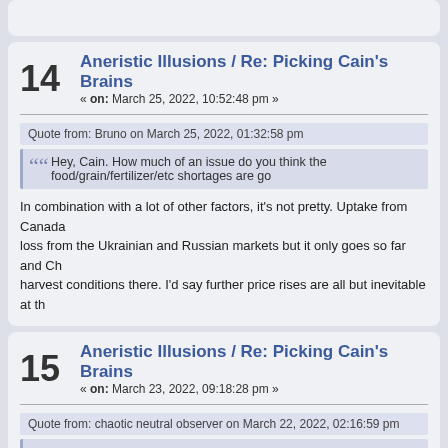14 Aneristic Illusions / Re: Picking Cain's Brains « on: March 25, 2022, 10:52:48 pm »
Quote from: Bruno on March 25, 2022, 01:32:58 pm
Hey, Cain. How much of an issue do you think the food/grain/fertilizer/etc shortages are go
In combination with a lot of other factors, it's not pretty. Uptake from Canada... loss from the Ukrainian and Russian markets but it only goes so far and Ch... harvest conditions there. I'd say further price rises are all but inevitable at th...
15 Aneristic Illusions / Re: Picking Cain's Brains « on: March 23, 2022, 09:18:28 pm »
Quote from: chaotic neutral observer on March 22, 2022, 02:16:59 pm
Quote from: altered on March 17, 2022, 06:33:15 pm
Anyone who says “mainstream, media-backed position” as a serious response to the re... wager that if people here aren't sure of what to think but have the fear of saying “I don't... for fucking kicks. Get real, please.